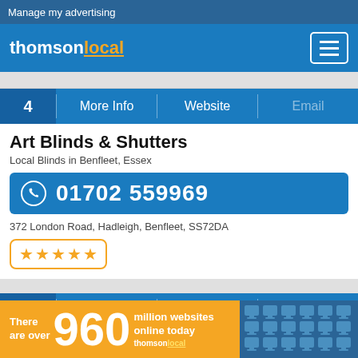Manage my advertising
[Figure (logo): thomsonlocal logo in white and orange text on blue background]
4  More Info  |  Website  |  Email
Art Blinds & Shutters
Local Blinds in Benfleet, Essex
01702 559969
372 London Road, Hadleigh, Benfleet, SS72DA
★★★★★
5  More Info  |  Website  |  Email
Harmony Blinds
There are over 960 million websites online today